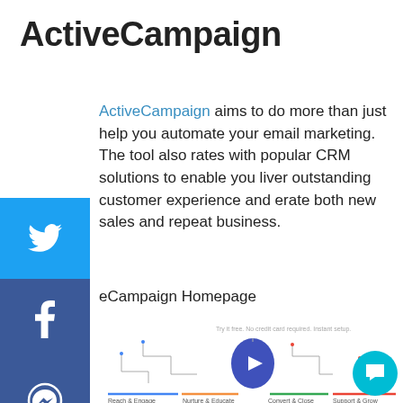ActiveCampaign
ActiveCampaign aims to do more than just help you automate your email marketing. The tool also rates with popular CRM solutions to enable you liver outstanding customer experience and erate both new sales and repeat business.
eCampaign Homepage
[Figure (screenshot): ActiveCampaign homepage diagram showing four stages: Reach & Engage, Nurture & Educate, Convert & Close, Support & Grow, with a flowchart and a blue arrow button in the center. Text reads: Try it free. No credit card required. Instant setup.]